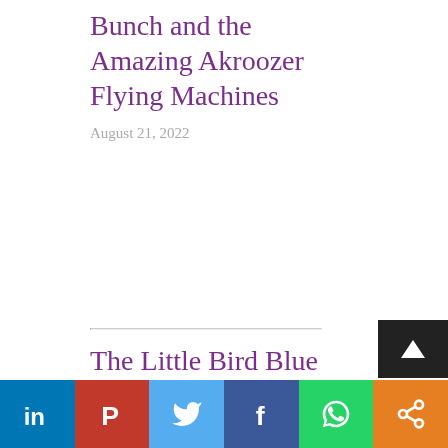Bunch and the Amazing Akroozer Flying Machines
August 21, 2022
The Little Bird Blue
August 14, 2022
LinkedIn | Pinterest | Twitter | Facebook | WhatsApp | Share